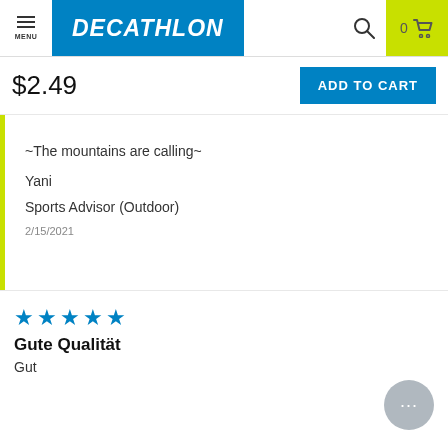MENU | DECATHLON | search | 0 cart
$2.49
ADD TO CART
~The mountains are calling~
Yani
Sports Advisor (Outdoor)
2/15/2021
★★★★★
Gute Qualität
Gut